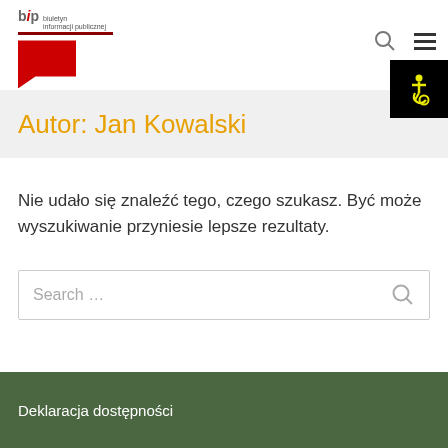[Figure (logo): BIP (Biuletyn Informacji Publicznej) logo with red bar, red speech bubble shape, and text 'bip biuletyn informacji publicznej']
[Figure (other): Accessibility icon (wheelchair symbol) in yellow on black background, top right corner]
Autor: Jan Kowalski
Nie udało się znaleźć tego, czego szukasz. Być może wyszukiwanie przyniesie lepsze rezultaty.
[Figure (screenshot): Search input box with placeholder text 'Search …' and a search icon on the right]
Deklaracja dostępności